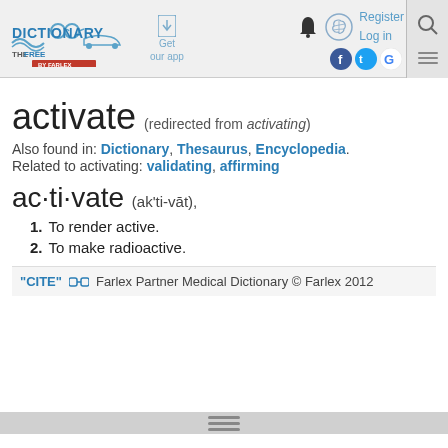[Figure (logo): The Free Dictionary by Farlex logo with glasses and wave design]
activate (redirected from activating)
Also found in: Dictionary, Thesaurus, Encyclopedia.
Related to activating: validating, affirming
ac·ti·vate (ak'ti-vāt),
1. To render active.
2. To make radioactive.
"CITE" 🔗 Farlex Partner Medical Dictionary © Farlex 2012